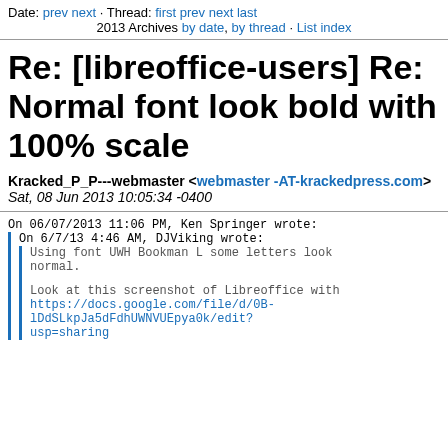Date: prev next · Thread: first prev next last 2013 Archives by date, by thread · List index
Re: [libreoffice-users] Re: Normal font look bold with 100% scale
Kracked_P_P---webmaster <webmaster -AT-krackedpress.com>
Sat, 08 Jun 2013 10:05:34 -0400
On 06/07/2013 11:06 PM, Ken Springer wrote:
  On 6/7/13 4:46 AM, DJViking wrote:
    Using font UWH Bookman L some letters look
    normal.

    Look at this screenshot of Libreoffice with
    https://docs.google.com/file/d/0B-lDdSLkpJa5dFdhUWNVUEpya0k/edit?usp=sharing